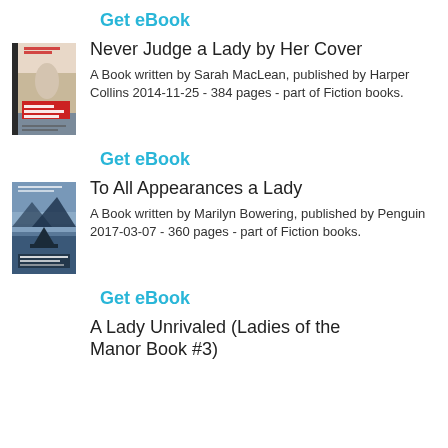Get eBook
Never Judge a Lady by Her Cover
A Book written by Sarah MacLean, published by Harper Collins 2014-11-25 - 384 pages - part of Fiction books.
[Figure (illustration): Book cover for Never Judge a Lady by Her Cover by Sarah MacLean]
Get eBook
To All Appearances a Lady
A Book written by Marilyn Bowering, published by Penguin 2017-03-07 - 360 pages - part of Fiction books.
[Figure (illustration): Book cover for To All Appearances a Lady by Marilyn Bowering]
Get eBook
A Lady Unrivaled (Ladies of the Manor Book #3)